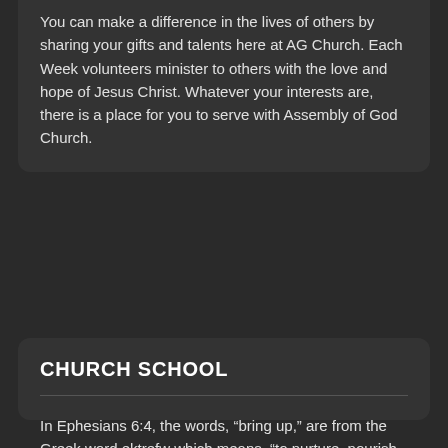You can make a difference in the lives of others by sharing your gifts and talents here at AG Church. Each Week volunteers minister to others with the love and hope of Jesus Christ. Whatever your interests are, there is a place for you to serve with Assembly of God Church.
CHURCH SCHOOL
In Ephesians 6:4, the words, “bring up,” are from the Greek word ektrefw which means, “to nurture, nourish, provide for with care that nourishes, feeds, or trains.” In other words we are to provide the kind of care that will promote healthy growth and development. Of course, the context is dealing with spiritual and moral development that flows out of a right relationship with God, walking under God’s control, but it is the fruit of the loving care of godly parents.